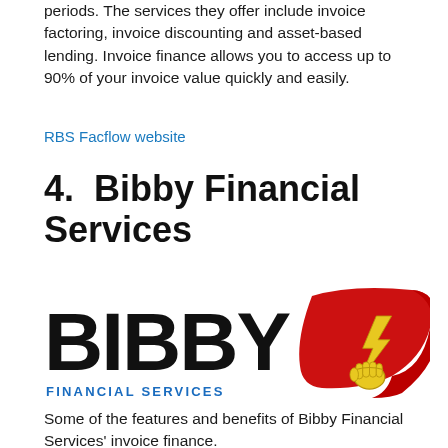periods. The services they offer include invoice factoring, invoice discounting and asset-based lending. Invoice finance allows you to access up to 90% of your invoice value quickly and easily.
RBS Facflow website
4.  Bibby Financial Services
[Figure (logo): Bibby Financial Services logo: bold black text 'BIBBY' with 'FINANCIAL SERVICES' in blue below, and a red flag with a gold fist holding a lightning bolt on the right.]
Some of the features and benefits of Bibby Financial Services' invoice finance.